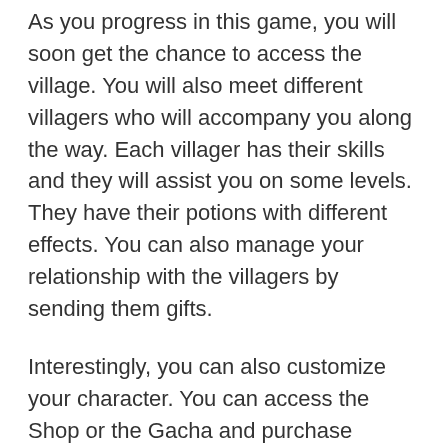As you progress in this game, you will soon get the chance to access the village. You will also meet different villagers who will accompany you along the way. Each villager has their skills and they will assist you on some levels. They have their potions with different effects. You can also manage your relationship with the villagers by sending them gifts.
Interestingly, you can also customize your character. You can access the Shop or the Gacha and purchase costumes for your avatar. Player needs to earn B-Points to buy outfits at the boutique. This is the part where the game's in-game microtransaction comes in. There is a bunch of fancy outfits to choose from.
[Figure (screenshot): Three side-by-side screenshots of a mobile game showing gameplay scenes: left shows a green field with a score of 0, middle shows a 'Partners' UI panel with icons, right shows a forest/garden scene.]